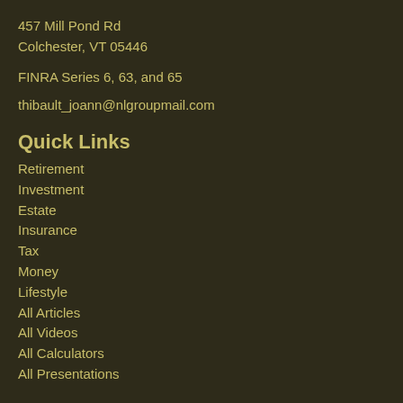457 Mill Pond Rd
Colchester, VT 05446
FINRA Series 6, 63, and 65
thibault_joann@nlgroupmail.com
Quick Links
Retirement
Investment
Estate
Insurance
Tax
Money
Lifestyle
All Articles
All Videos
All Calculators
All Presentations